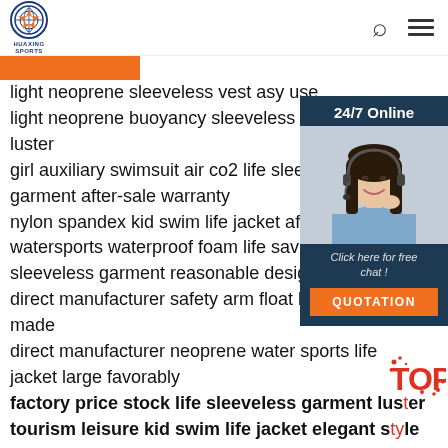[Figure (logo): Huaxing Sports logo — circular blue emblem with globe/star design and text HUAXING SPORTS below]
[Figure (infographic): Orange horizontal rectangle strip (navigation/menu button area)]
[Figure (infographic): Sidebar widget with dark blue background showing '24/7 Online', photo of woman with headset, 'Click here for free chat!' text, and orange QUOTATION button]
light neoprene sleeveless vest asy use
light neoprene buoyancy sleeveless ga luster
girl auxiliary swimsuit air co2 life sleev garment after-sale warranty
nylon spandex kid swim life jacket affo watersports waterproof foam life savi sleeveless garment reasonable design direct manufacturer safety arm float li made
direct manufacturer neoprene water sports life jacket large favorably
factory price stock life sleeveless garment luster
tourism leisure kid swim life jacket elegant style
waterproof oxford cloth neoprene water sports sleeveless garment luster
recreation air co2 life sleeveless garment